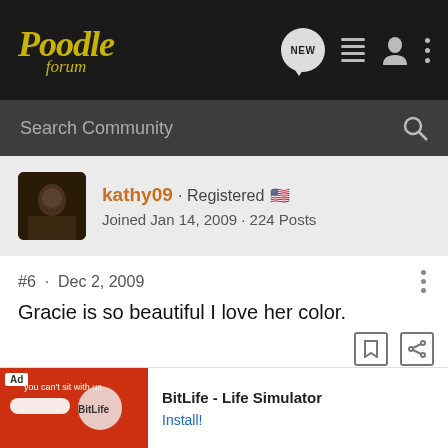Poodle forum — navigation header with logo, NEW button, list icon, user icon, menu icon
Search Community
kathy09 · Registered 🇺🇸
Joined Jan 14, 2009 · 224 Posts
#6 · Dec 2, 2009
Gracie is so beautiful I love her color.
[Figure (screenshot): BitLife - Life Simulator ad banner at bottom of page]